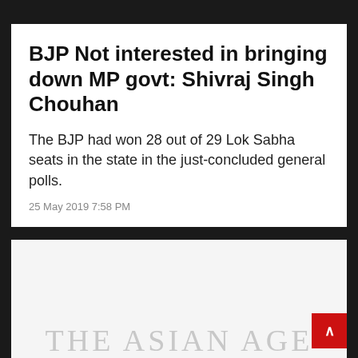BJP Not interested in bringing down MP govt: Shivraj Singh Chouhan
The BJP had won 28 out of 29 Lok Sabha seats in the state in the just-concluded general polls.
25 May 2019 7:58 PM
[Figure (logo): The Asian Age newspaper logo in light grey at the bottom of the page]